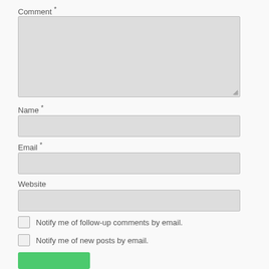Comment *
[Figure (other): Comment textarea input field (empty, light gray background)]
Name *
[Figure (other): Name text input field (empty, light gray background)]
Email *
[Figure (other): Email text input field (empty, light gray background)]
Website
[Figure (other): Website text input field (empty, light gray background)]
Notify me of follow-up comments by email.
Notify me of new posts by email.
[Figure (other): Submit button (green)]